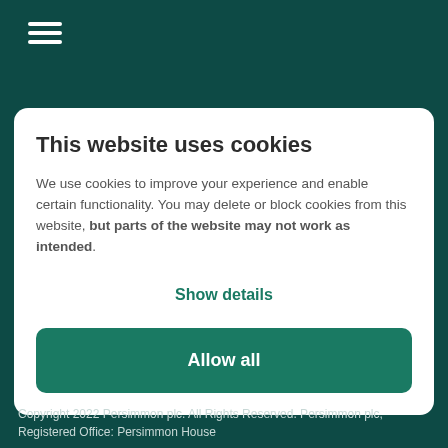[Figure (other): Hamburger menu icon with three horizontal white lines on dark teal background]
This website uses cookies
We use cookies to improve your experience and enable certain functionality. You may delete or block cookies from this website, but parts of the website may not work as intended.
Show details
Allow all
Copyright 2022 Persimmon plc. All Rights Reserved. Persimmon plc, Registered Office: Persimmon House